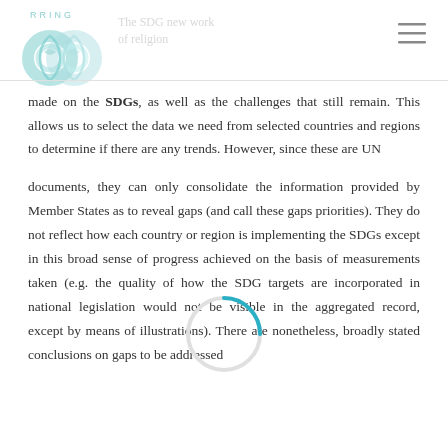RRING
[Figure (logo): RRING organization logo with two intertwined spiral shapes in teal/light blue colors]
[Figure (illustration): Hamburger menu icon (three horizontal lines) in gray]
made on the SDGs, as well as the challenges that still remain. This allows us to select the data we need from selected countries and regions to determine if there are any trends. However, since these are UN documents, they can only consolidate the information provided by Member States as to reveal gaps (and call these gaps priorities). They do not reflect how each country or region is implementing the SDGs except in this broad sense of progress achieved on the basis of measurements taken (e.g. the quality of how the SDG targets are incorporated in national legislation would not be visible in the aggregated record, except by means of illustrations). There are nonetheless, broadly stated conclusions on gaps to be addressed